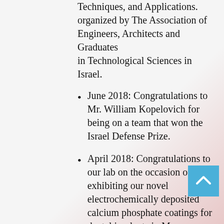Techniques, and Applications. organized by The Association of Engineers, Architects and Graduates in Technological Sciences in Israel.
June 2018: Congratulations to Mr. William Kopelovich for being on a team that won the Israel Defense Prize.
April 2018: Congratulations to our lab on the occasion of exhibiting our novel electrochemically deposited calcium phosphate coatings for dental implants in Moscow, Russia.
April 2018: Congratulations to Mr. David Eliyahu for successfully defending his MSc thesis!.
May 2017: Congratulations to Ms. Noah Metoki for being awarded a